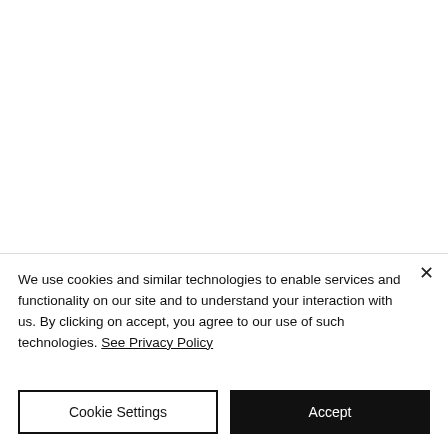We use cookies and similar technologies to enable services and functionality on our site and to understand your interaction with us. By clicking on accept, you agree to our use of such technologies. See Privacy Policy
Cookie Settings
Accept